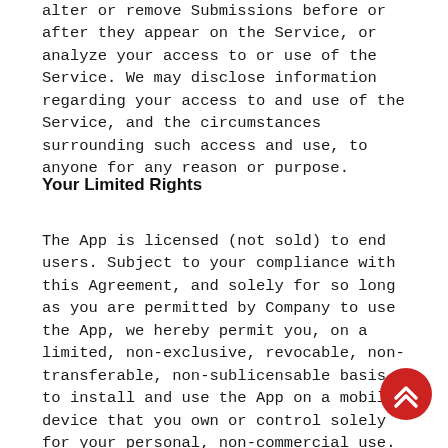alter or remove Submissions before or after they appear on the Service, or analyze your access to or use of the Service. We may disclose information regarding your access to and use of the Service, and the circumstances surrounding such access and use, to anyone for any reason or purpose.
Your Limited Rights
The App is licensed (not sold) to end users. Subject to your compliance with this Agreement, and solely for so long as you are permitted by Company to use the App, we hereby permit you, on a limited, non-exclusive, revocable, non-transferable, non-sublicensable basis, to install and use the App on a mobile device that you own or control solely for your personal, non-commercial use. If you fail to comply with any of the terms or conditions of this Agreement,
(i) you must immediately cease using the App,